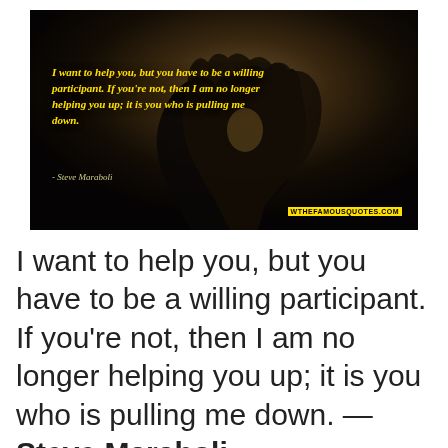[Figure (photo): Dark photograph of two hands forming a heart shape silhouette against a dim background, with yellow italic quote text overlaid: 'I want to help you, but you have to be a willing participant. If you're not, then I am no longer helping you up; it is you who is pulling me down.' with attribution '- Steve Maraboli' and watermark 'WTHEFAMOUSQUOTES.COM']
I want to help you, but you have to be a willing participant. If you're not, then I am no longer helping you up; it is you who is pulling me down. — Steve Maraboli